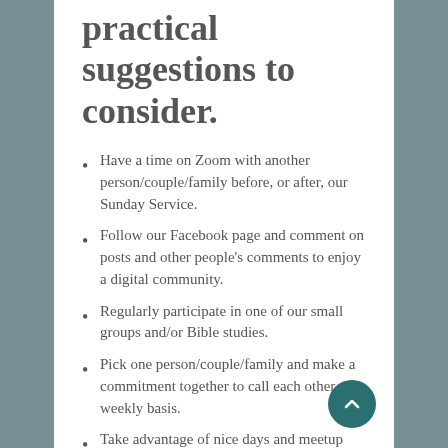practical suggestions to consider.
Have a time on Zoom with another person/couple/family before, or after, our Sunday Service.
Follow our Facebook page and comment on posts and other people's comments to enjoy a digital community.
Regularly participate in one of our small groups and/or Bible studies.
Pick one person/couple/family and make a commitment together to call each other on a weekly basis.
Take advantage of nice days and meetup with others in a park or go for a walk.
Buy a firepit and have people over, even during cold weather.